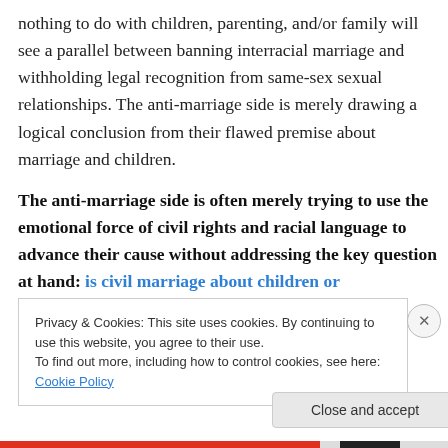nothing to do with children, parenting, and/or family will see a parallel between banning interracial marriage and withholding legal recognition from same-sex sexual relationships. The anti-marriage side is merely drawing a logical conclusion from their flawed premise about marriage and children.
The anti-marriage side is often merely trying to use the emotional force of civil rights and racial language to advance their cause without addressing the key question at hand: is civil marriage about children or
Privacy & Cookies: This site uses cookies. By continuing to use this website, you agree to their use.
To find out more, including how to control cookies, see here: Cookie Policy
Close and accept